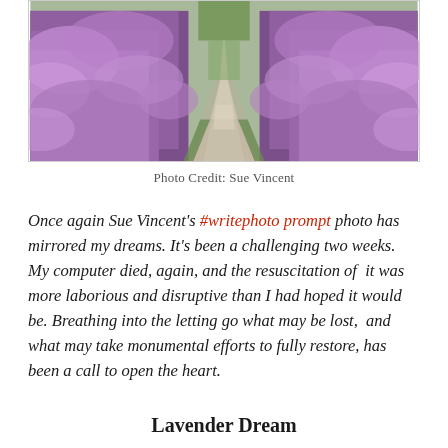[Figure (photo): A gravel path flanked on both sides by blooming purple heather bushes, stretching into the distance with green grass between the heather.]
Photo Credit: Sue Vincent
Once again Sue Vincent’s #writephoto prompt photo has mirrored my dreams. It’s been a challenging two weeks. My computer died, again, and the resuscitation of it was more laborious and disruptive than I had hoped it would be. Breathing into the letting go what may be lost, and what may take monumental efforts to fully restore, has been a call to open the heart.
Lavender Dream